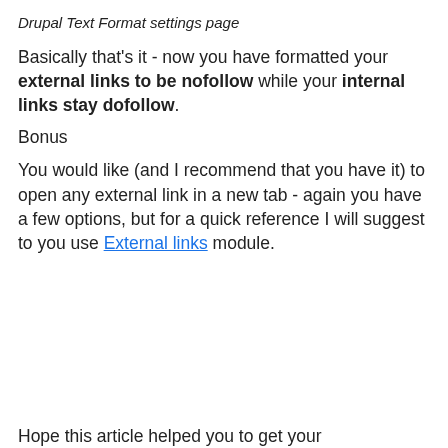Drupal Text Format settings page
Basically that's it - now you have formatted your external links to be nofollow while your internal links stay dofollow.
Bonus
You would like (and I recommend that you have it) to open any external link in a new tab - again you have a few options, but for a quick reference I will suggest to you use External links module.
Hope this article helped you to get your